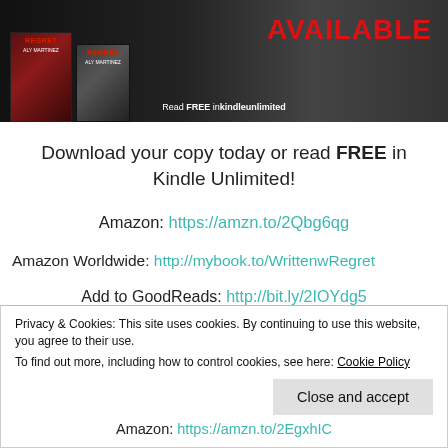[Figure (photo): Book promotion banner image showing two book covers with 'AVAILABLE' text in red on dark background. Books by Aly Martinez. Text reads 'Read FREE in kindle unlimited'.]
Download your copy today or read FREE in Kindle Unlimited!
Amazon: https://amzn.to/2Qbg6qg
Amazon Worldwide: http://mybook.to/WrittenwRegret
Add to GoodReads: http://bit.ly/2IOYdg5
Privacy & Cookies: This site uses cookies. By continuing to use this website, you agree to their use.
To find out more, including how to control cookies, see here: Cookie Policy
Close and accept
Amazon: https://amzn.to/2EgxhIC